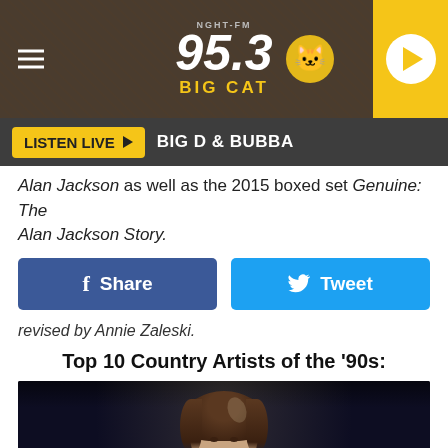[Figure (screenshot): 95.3 Big Cat radio station website header banner with hamburger menu icon on left, 95.3 Big Cat logo in center with cartoon cat mascot, and yellow play button on right]
[Figure (screenshot): Navigation bar with yellow LISTEN LIVE play button and BIG D & BUBBA text on dark grey background]
Alan Jackson as well as the 2015 boxed set Genuine: The Alan Jackson Story
[Figure (screenshot): Facebook Share button (blue) and Twitter Tweet button (light blue) social sharing buttons]
revised by Annie Zaleski.
Top 10 Country Artists of the '90s:
[Figure (photo): Female country music singer performing on stage, holding microphone, dark background, wearing black outfit]